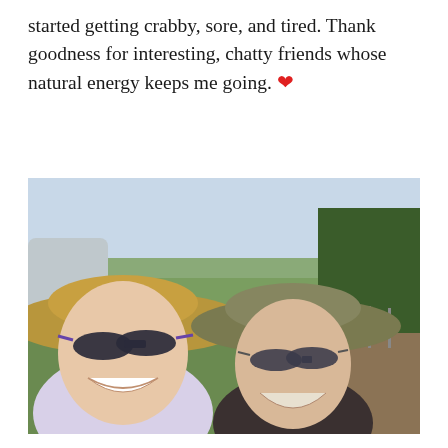started getting crabby, sore, and tired. Thank goodness for interesting, chatty friends whose natural energy keeps me going. ❤
[Figure (photo): Outdoor selfie of two women smiling, both wearing wide-brimmed hats and sunglasses. Background shows green fields, trees, fence posts, and a partly cloudy sky.]